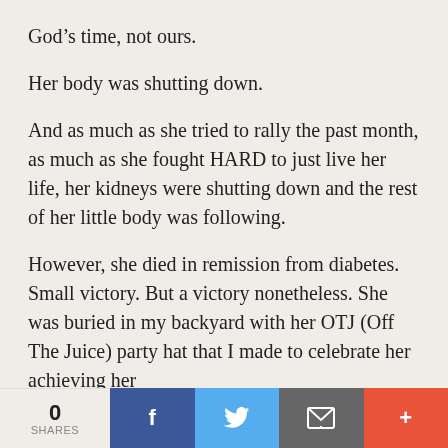God’s time, not ours.
Her body was shutting down.
And as much as she tried to rally the past month, as much as she fought HARD to just live her life, her kidneys were shutting down and the rest of her little body was following.
However, she died in remission from diabetes. Small victory. But a victory nonetheless. She was buried in my backyard with her OTJ (Off The Juice) party hat that I made to celebrate her achieving her
0 SHARES | Facebook | Twitter | Email | More